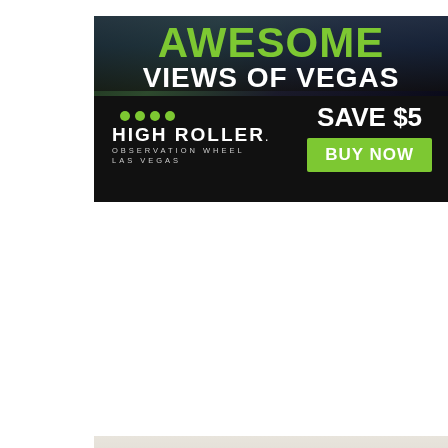[Figure (illustration): High Roller Observation Wheel Las Vegas advertisement. Dark background with city view. Green text 'AWESOME' at top, white text 'VIEWS OF VEGAS', High Roller logo with green dots on left, 'SAVE $5' in white and green 'BUY NOW' button on right.]
[Figure (illustration): Station Casinos Summer Dreamin' advertisement. Light beige/gray background with pool scene. Station Casinos logo at top, large red italic 'Summer Dreamin'' text, white band with 'UP TO 20% OFF VEGAS ROOMS' and '+ Resort Credit Per Stay'.]